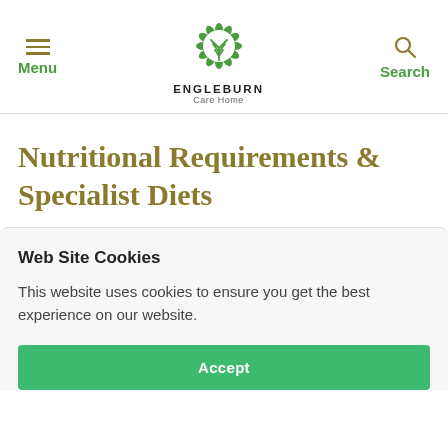Menu | ENGLEBURN Care Home | Search
Nutritional Requirements & Specialist Diets
Web Site Cookies
This website uses cookies to ensure you get the best experience on our website.
Accept